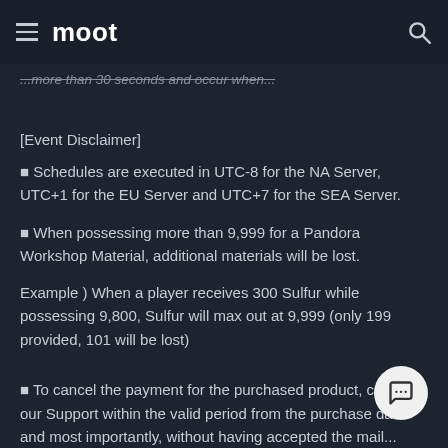moot
...more than 30 seconds and occur when...
[Event Disclaimer]
■ Schedules are executed in UTC-8 for the NA Server, UTC+1 for the EU Server and UTC+7 for the SEA Server.
■ When possessing more than 9,999 for a Pandora Workshop Material, additional materials will be lost.
Example ) When a player receives 300 Sulfur while possessing 9,800, Sulfur will max out at 9,999 (only 199 provided, 101 will be lost)
■ To cancel the payment for the purchased product, contact our Support within the valid period from the purchase date and most importantly, without having accepted the mail...